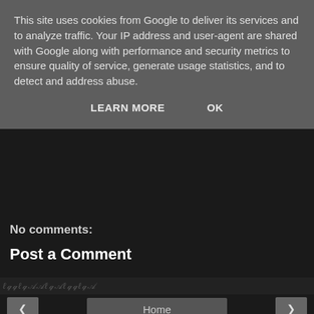This site uses cookies from Google to deliver its services and to analyze traffic. Your IP address and user-agent are shared with Google along with performance and security metrics to ensure quality of service, generate usage statistics, and to detect and address abuse.
LEARN MORE    OK
No comments:
Post a Comment
Home
View web version
About Me
[Figure (photo): Profile photo of a person outdoors among trees]
Badwitch
I'm a witch - initiated as a wiccan but pretty eclectic. I live in London, England.